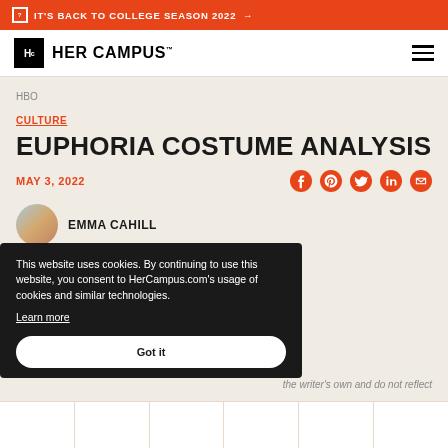IT'S BACK TO COLLEGE SEASON 2022 →
[Figure (logo): Her Campus logo with Hc in black box and HER CAMPUS text]
HBO
CULTURE
EUPHORIA COSTUME ANALYSIS
MAY 3, 2022
EMMA CAHILL
This website uses cookies. By continuing to use this website, you consent to HerCampus.com's usage of cookies and similar technologies. Learn more
Got it
the writer's own and do not reflect